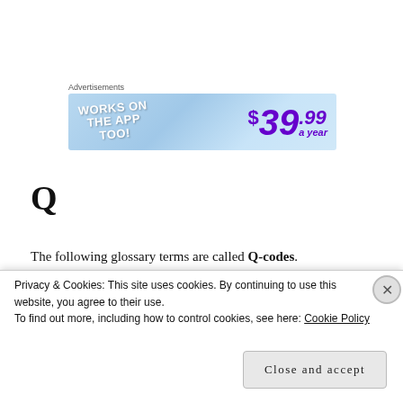Advertisements
[Figure (illustration): Advertisement banner with light blue background. Left side shows 'WORKS ON THE APP TOO!' in white bold italic text. Right side shows '$39.99 a year' in large purple bold italic text.]
Q
The following glossary terms are called Q-codes.
Privacy & Cookies: This site uses cookies. By continuing to use this website, you agree to their use.
To find out more, including how to control cookies, see here: Cookie Policy
Close and accept